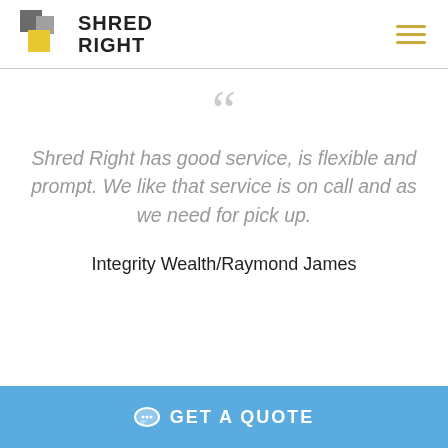Shred Right
Shred Right has good service, is flexible and prompt. We like that service is on call and as we need for pick up.
Integrity Wealth/Raymond James
GET A QUOTE